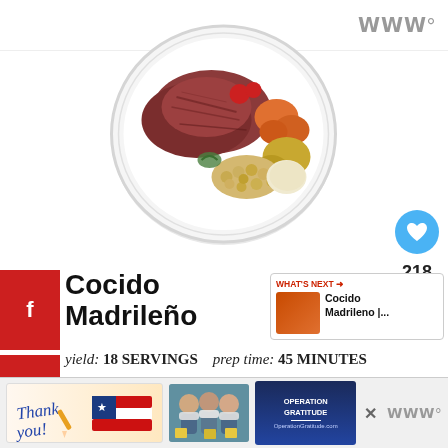WWW°
[Figure (photo): Top-down view of a white bowl containing Cocido Madrileno — a Spanish stew with meat, chickpeas, potatoes, carrots, and vegetables]
Cocido Madrileño
WHAT'S NEXT → Cocido Madrileno |...
yield: 18 SERVINGS   prep time: 45 MINUTES
[Figure (infographic): Bottom advertisement banner: Thank you handwritten text with American flag imagery, healthcare workers photo, Operation Gratitude logo]
WWW°